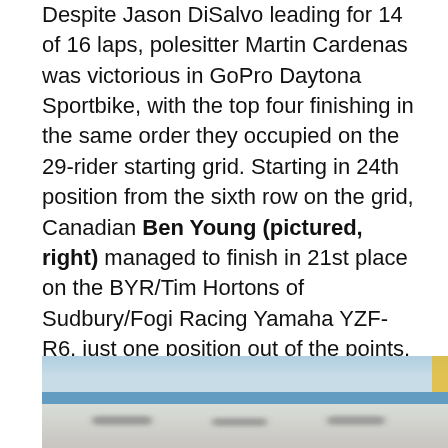Despite Jason DiSalvo leading for 14 of 16 laps, polesitter Martin Cardenas was victorious in GoPro Daytona Sportbike, with the top four finishing in the same order they occupied on the 29-rider starting grid. Starting in 24th position from the sixth row on the grid, Canadian Ben Young (pictured, right) managed to finish in 21st place on the BYR/Tim Hortons of Sudbury/Fogi Racing Yamaha YZF-R6, just one position out of the points.
Darren James cut two seconds off his previous qualifying effort and sits in sixth position heading into Vance & Hines Harley-Davidson XR1200 competition on Monday.
[Figure (photo): Partially visible photo of a motorcycle racing scene, showing blurred motion marks on a light background suggesting a racetrack.]